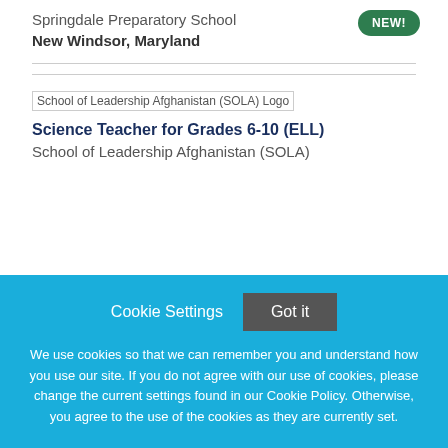Springdale Preparatory School
New Windsor, Maryland
[Figure (logo): School of Leadership Afghanistan (SOLA) Logo]
Science Teacher for Grades 6-10 (ELL)
School of Leadership Afghanistan (SOLA)
Cookie Settings   Got it
We use cookies so that we can remember you and understand how you use our site. If you do not agree with our use of cookies, please change the current settings found in our Cookie Policy. Otherwise, you agree to the use of the cookies as they are currently set.